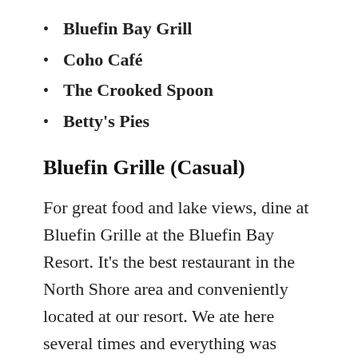Bluefin Bay Grill
Coho Café
The Crooked Spoon
Betty's Pies
Bluefin Grille (Casual)
For great food and lake views, dine at Bluefin Grille at the Bluefin Bay Resort. It's the best restaurant in the North Shore area and conveniently located at our resort. We ate here several times and everything was delicious. They're known for their